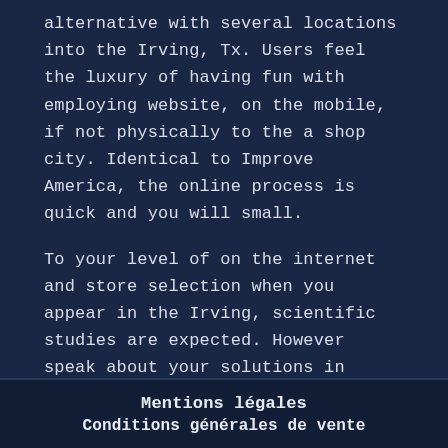alternative with several locations into the Irving, Tx. Users feel the luxury of having fun with employing website, on the mobile, if not physically to the a shop city. Identical to Improve America, the online process is quick and you will small.
To your level of on the internet and store selection when you appear in the Irving, scientific studies are expected. However speak about your solutions in advance of requesting a keen pay day loan.
Mentions légales
Conditions générales de vente